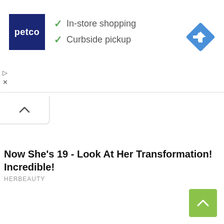[Figure (screenshot): Petco advertisement banner with logo, checkmarks for In-store shopping and Curbside pickup, and a blue navigation/directions diamond icon on the right]
[Figure (other): Collapsed tab/chevron button below the ad banner]
Now She's 19 - Look At Her Transformation! Incredible!
HERBEAUTY
[Figure (other): Green scroll-to-top button with upward chevron arrow in bottom-right corner]